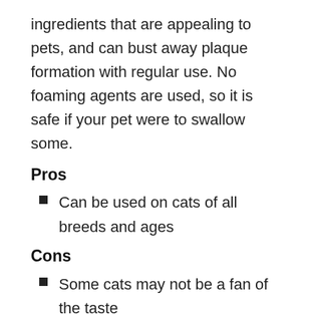ingredients that are appealing to pets, and can bust away plaque formation with regular use. No foaming agents are used, so it is safe if your pet were to swallow some.
Pros
Can be used on cats of all breeds and ages
Cons
Some cats may not be a fan of the taste
Virbac Poultry Flavor Toothpaste is excellent for cats with plaque buildup or to maintain sparkly white teeth.